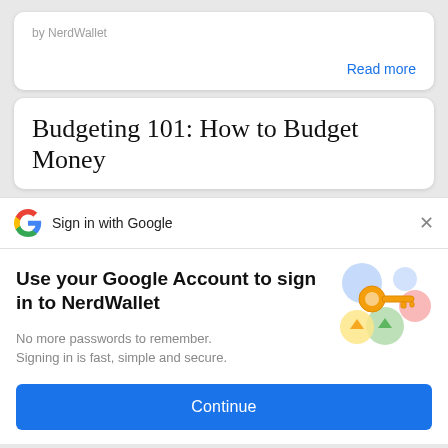by NerdWallet
Read more
Budgeting 101: How to Budget Money
Sign in with Google
Use your Google Account to sign in to NerdWallet
No more passwords to remember. Signing in is fast, simple and secure.
[Figure (illustration): Colorful illustration of a golden key with circular icons representing Google sign-in security]
Continue